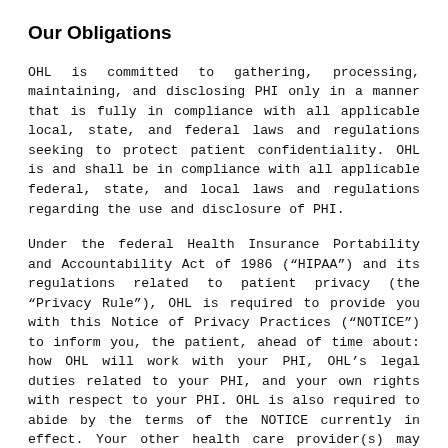Our Obligations
OHL is committed to gathering, processing, maintaining, and disclosing PHI only in a manner that is fully in compliance with all applicable local, state, and federal laws and regulations seeking to protect patient confidentiality. OHL is and shall be in compliance with all applicable federal, state, and local laws and regulations regarding the use and disclosure of PHI.
Under the federal Health Insurance Portability and Accountability Act of 1986 (“HIPAA”) and its regulations related to patient privacy (the “Privacy Rule”), OHL is required to provide you with this Notice of Privacy Practices (“NOTICE”) to inform you, the patient, ahead of time about: how OHL will work with your PHI, OHL’s legal duties related to your PHI, and your own rights with respect to your PHI. OHL is also required to abide by the terms of the NOTICE currently in effect. Your other health care provider(s) may have different notices regarding the use and disclosure of your PHI